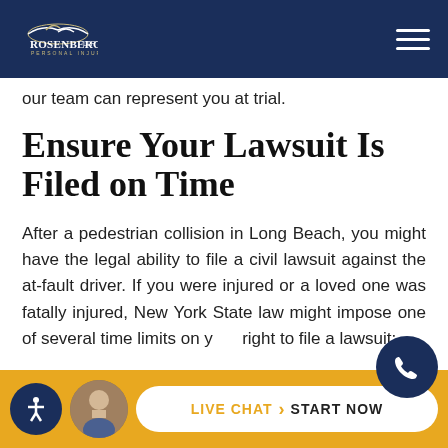Rosenberg & Gluck LLP — Personal Injury Law
our team can represent you at trial.
Ensure Your Lawsuit Is Filed on Time
After a pedestrian collision in Long Beach, you might have the legal ability to file a civil lawsuit against the at-fault driver. If you were injured or a loved one was fatally injured, New York State law might impose one of several time limits on your right to file a lawsuit:
LIVE CHAT › START NOW